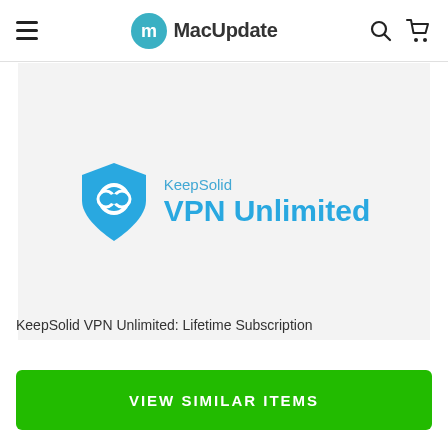MacUpdate
[Figure (logo): KeepSolid VPN Unlimited logo on light gray background — blue shield icon with two overlapping rings, and text 'KeepSolid VPN Unlimited' in blue]
KeepSolid VPN Unlimited: Lifetime Subscription
VIEW SIMILAR ITEMS